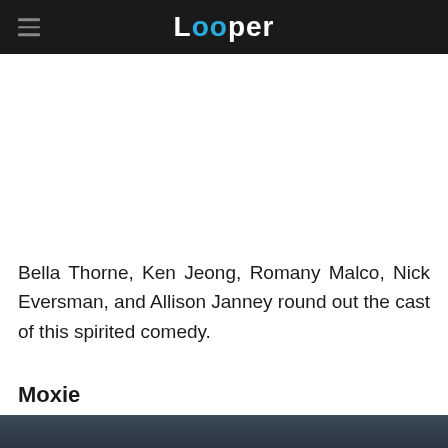Looper
Bella Thorne, Ken Jeong, Romany Malco, Nick Eversman, and Allison Janney round out the cast of this spirited comedy.
Moxie
[Figure (photo): Partial photo of a person with long hair, appears to be a movie still, shown at the bottom of the page.]